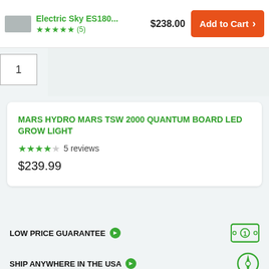[Figure (screenshot): Top bar showing product thumbnail, product title 'Electric Sky ES180...', price $238.00, star rating with (5) reviews, and orange Add to Cart button]
1
MARS HYDRO MARS TSW 2000 QUANTUM BOARD LED GROW LIGHT
5 reviews
$239.99
LOW PRICE GUARANTEE
SHIP ANYWHERE IN THE USA